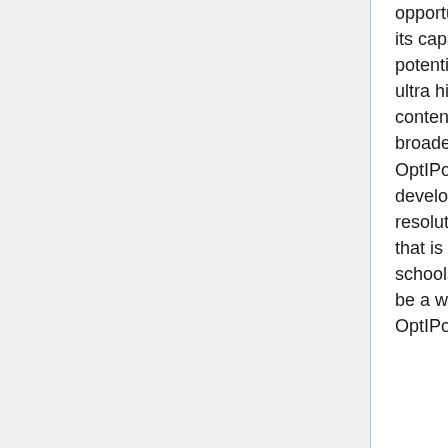opportunity to demonstrate its capabilities and potential. The availability of ultra high resolution content is a challenge to a broader appreciation of the OptIPortal, as such the development of a ultra high resolution content bank that is aligned with a schools curriculum would be a worthy project. The OptIPortal generated